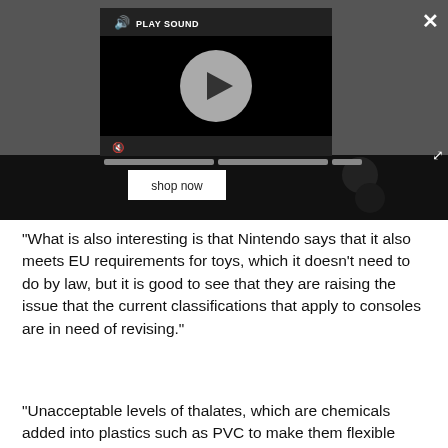[Figure (screenshot): Video player overlay on a dark background showing a play button circle, PLAY SOUND label with speaker icon, mute button, progress bars, a close (X) button, expand button, and a 'shop now' button on a dark product advertisement area.]
“What is also interesting is that Nintendo says that it also meets EU requirements for toys, which it doesn’t need to do by law, but it is good to see that they are raising the issue that the current classifications that apply to consoles are in need of revising.”
“Unacceptable levels of thalates, which are chemicals added into plastics such as PVC to make them flexible